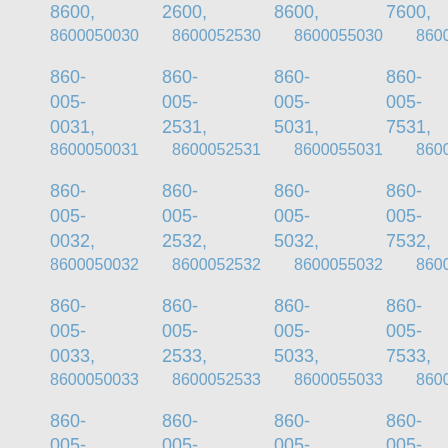8600, 2600, 8600, 7600,
8600050030 8600052530 8600055030 8600005...
860-005-0031, 8600050031 860-005-2531, 8600052531 860-005-5031, 8600055031 860-005-7531, 8600057531
860-005-0032, 8600050032 860-005-2532, 8600052532 860-005-5032, 8600055032 860-005-7532, 8600057532
860-005-0033, 8600050033 860-005-2533, 8600052533 860-005-5033, 8600055033 860-005-7533, 8600057533
860-005- 860-005- 860-005- 860-005-